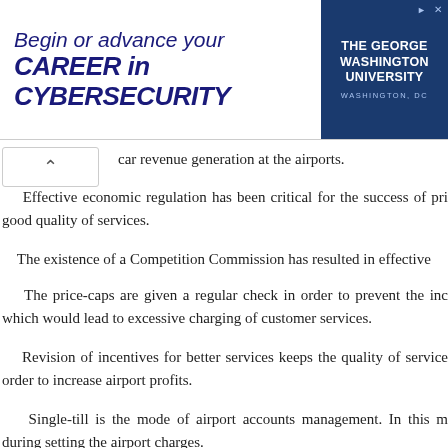[Figure (other): Advertisement banner for The George Washington University cybersecurity program. Text reads: Begin or advance your CAREER in CYBERSECURITY. Logo on right side with university name and Washington, DC location.]
car revenue generation at the airports.
Effective economic regulation has been critical for the success of pri good quality of services.
The existence of a Competition Commission has resulted in effective
The price-caps are given a regular check in order to prevent the inc which would lead to excessive charging of customer services.
Revision of incentives for better services keeps the quality of service order to increase airport profits.
Single-till is the mode of airport accounts management. In this m during setting the airport charges.
Copenhagen Airport (CPH), Denmark
Relatively successful privatization with quality service and relatively h
Effective economic regulation has been critical for the success of t service high.